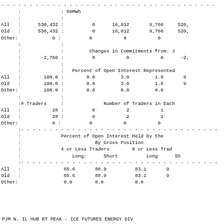|  |  | 50MWh |  |  |  |
|  |  |  |  |  |  |
| All | 530,432: | 0 | 16,012 | 9,766 | 520, |
| Old | 530,432: | 0 | 16,012 | 9,766 | 520, |
| Other: | 0: | 0 | 0 | 0 |  |
|  |  |  |  |  |  |
|  |  | Changes in Commitments from: J |  |  |  |
|  | -2,760: | 0 | 0 | 0 | -2, |
|  |  |  |  |  |  |
|  |  | Percent of Open Interest Represented |  |  |  |
| All | 100.0: | 0.0 | 3.0 | 1.8 | 9 |
| Old | 100.0: | 0.0 | 3.0 | 1.8 | 9 |
| Other: | 100.0: | 0.0 | 0.0 | 0.0 |  |
|  |  |  |  |  |  |
| :# Traders : |  | Number of Traders in Each |  |  |  |
| All | 28: | 0 | 2 | 1 |  |
| Old | 28: | 0 | 2 | 1 |  |
| Other: | 0: | 0 | 0 | 0 |  |
|  |  |  |  |  |  |
|  |  | Percent of Open Interest Held by the |  |  |  |
|  |  | By Gross Position |  |  |  |
|  |  | 4 or Less Traders |  | 8 or Less Traders |  |
|  |  | Long: | Short | Long | Sh |
|  |  |  |  |  |  |
| All |  | 65.6 | 88.9 | 83.1 | 9 |
| Old |  | 65.6 | 88.9 | 83.1 | 9 |
| Other: |  | 0.0 | 0.0 | 0.0 |  |
PJM N. IL HUB RT PEAK - ICE FUTURES ENERGY DIV